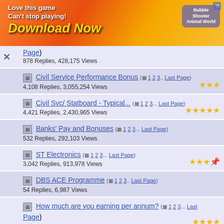[Figure (screenshot): Advertisement banner: colorful mobile game ad with text 'Love this game Can't stop playing! Download Now' and 'Bubble Shooter Animal World' on right side]
Page) 878 Replies, 428,175 Views
Civil Service Performance Bonus ( 1 2 3... Last Page) 4,108 Replies, 3,055,254 Views
Civil Svc/ Statboard - Typical... ( 1 2 3... Last Page) 4,421 Replies, 2,430,965 Views
Banks' Pay and Bonuses ( 1 2 3... Last Page) 532 Replies, 292,103 Views
ST Electronics ( 1 2 3... Last Page) 3,042 Replies, 913,978 Views
DBS ACE Programme ( 1 2 3... Last Page) 54 Replies, 6,987 Views
How much are you earning per annum? ( 1 2 3... Last Page) 13,354 Replies, 5,173,603 Views